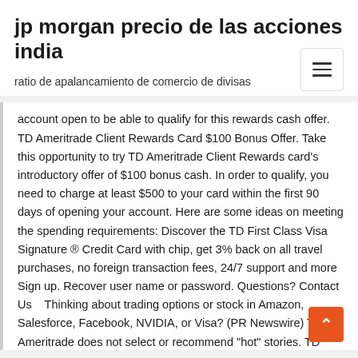jp morgan precio de las acciones india
ratio de apalancamiento de comercio de divisas
account open to be able to qualify for this rewards cash offer. TD Ameritrade Client Rewards Card $100 Bonus Offer. Take this opportunity to try TD Ameritrade Client Rewards card's introductory offer of $100 bonus cash. In order to qualify, you need to charge at least $500 to your card within the first 90 days of opening your account. Here are some ideas on meeting the spending requirements: Discover the TD First Class Visa Signature ® Credit Card with chip, get 3% back on all travel purchases, no foreign transaction fees, 24/7 support and more Sign up. Recover user name or password. Questions? Contact Us    Thinking about trading options or stock in Amazon, Salesforce, Facebook, NVIDIA, or Visa? (PR Newswire) TD Ameritrade does not select or recommend "hot" stories. TD Ameritrade Debit Card Airline miles rewards card td first class